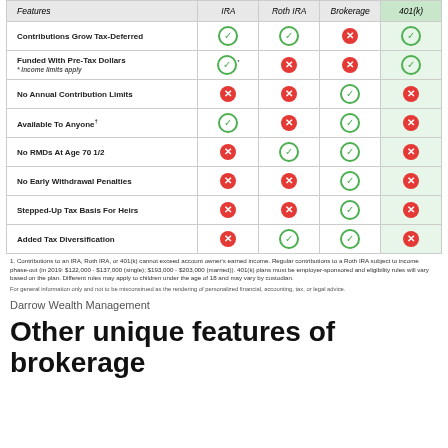| Features | IRA | Roth IRA | Brokerage | 401(k) |
| --- | --- | --- | --- | --- |
| Contributions Grow Tax-Deferred | ✓ | ✓ | ✗ | ✓ |
| Funded With Pre-Tax Dollars * Income limits apply | ✓* | ✗ | ✗ | ✓ |
| No Annual Contribution Limits | ✗ | ✗ | ✓ | ✗ |
| Available To Anyone† | ✓ | ✗ | ✓ | ✗ |
| No RMDs At Age 70 1/2 | ✗ | ✓ | ✓ | ✗ |
| No Early Withdrawal Penalties | ✗ | ✗ | ✓ | ✗ |
| Stepped-Up Tax Basis For Heirs | ✗ | ✗ | ✓ | ✗ |
| Added Tax Diversification | ✗ | ✓ | ✓ | ✗ |
1. Contributions to an IRA, Roth IRA, or 401(k) cannot exceed account owner's earned income. Regular contributions to a Roth IRA subject to income phase-out (in 2019: $122,000 - $137,000 (single); $193,000 - $203,000 (married)). 401(k) plans must be employer-sponsored and eligibility rules will vary based on the plan. Different rules may apply to children under the age of 18 and may vary by custodian.
For general information only and not to be misconstrued as the rendering of personalized financial, accounting, tax, or legal advice.
Darrow Wealth Management
Other unique features of brokerage